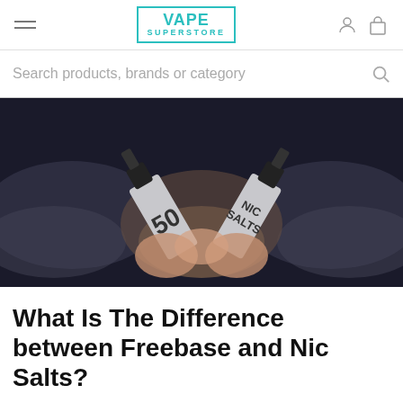VAPE SUPERSTORE
Search products, brands or category
[Figure (photo): Hands holding two dropper bottles labeled '50 NIC SALTS' with smoke/vapor in the background on a dark backdrop]
What Is The Difference between Freebase and Nic Salts?